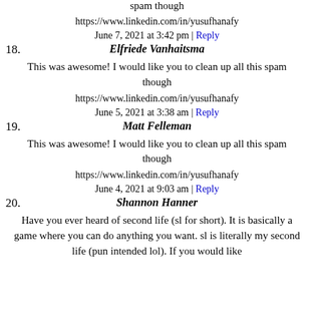spam though
https://www.linkedin.com/in/yusufhanafy
June 7, 2021 at 3:42 pm | Reply
18. Elfriede Vanhaitsma
This was awesome! I would like you to clean up all this spam though
https://www.linkedin.com/in/yusufhanafy
June 5, 2021 at 3:38 am | Reply
19. Matt Felleman
This was awesome! I would like you to clean up all this spam though
https://www.linkedin.com/in/yusufhanafy
June 4, 2021 at 9:03 am | Reply
20. Shannon Hanner
Have you ever heard of second life (sl for short). It is basically a game where you can do anything you want. sl is literally my second life (pun intended lol). If you would like